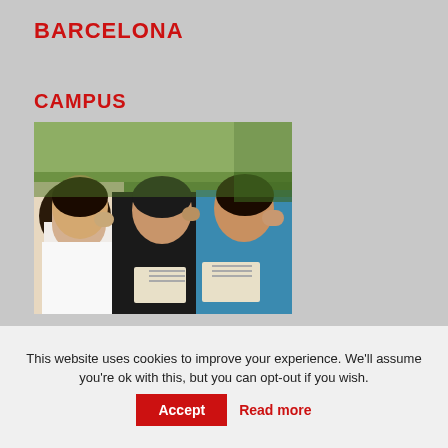BARCELONA
CAMPUS
[Figure (photo): Students outdoors looking at papers, campus scene with trees in background]
GO TO THE CAMPUS >
© 2022 ESCUELA MEDITERRANEO - PRIVACY POLICY - WORK
This website uses cookies to improve your experience. We'll assume you're ok with this, but you can opt-out if you wish.
Accept
Read more